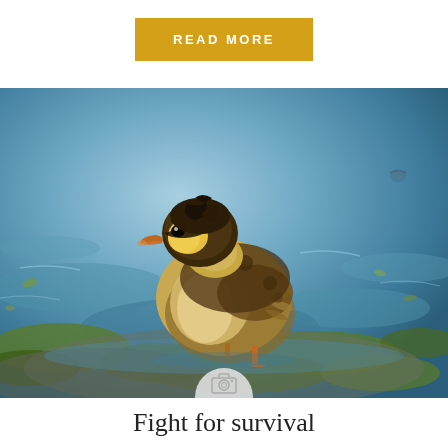READ MORE
[Figure (photo): A baby mallard duckling standing on wet mossy rocks near water, viewed from the side. The duckling has brown and yellow fluffy feathers with a dark stripe across its eye. Background shows blue water with green algae.]
Fight for survival